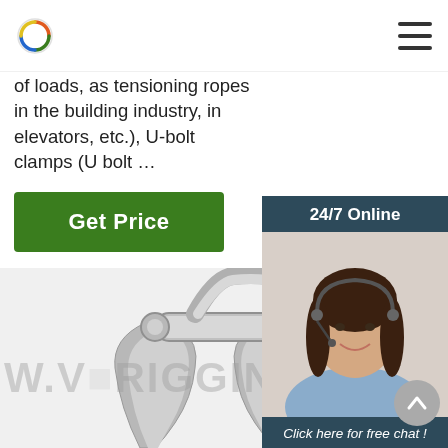[Logo] [Hamburger menu]
of loads, as tensioning ropes in the building industry, in elevators, etc.), U-bolt clamps (U bolt …
[Figure (other): Green 'Get Price' button]
[Figure (other): 24/7 Online chat widget with female customer service representative wearing headset, with 'Click here for free chat!' text and orange QUOTATION button]
[Figure (photo): Close-up photograph of a metal clevis/shackle rigging hardware component in black and white, with watermark text 'W.V[?]RIGGING.C' overlaid]
[Figure (other): Grey scroll-to-top circular button with upward arrow]